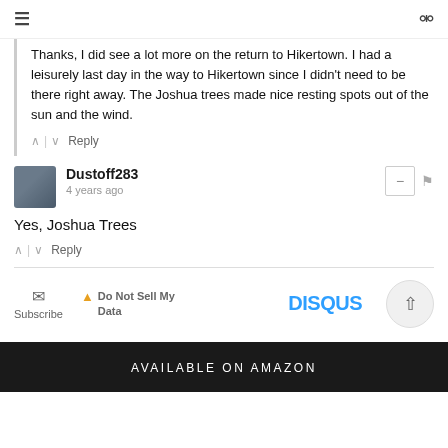≡  🔍
Thanks, I did see a lot more on the return to Hikertown. I had a leisurely last day in the way to Hikertown since I didn't need to be there right away. The Joshua trees made nice resting spots out of the sun and the wind.
Dustoff283 · 4 years ago
Yes, Joshua Trees
Subscribe | Do Not Sell My Data | DISQUS
AVAILABLE ON AMAZON